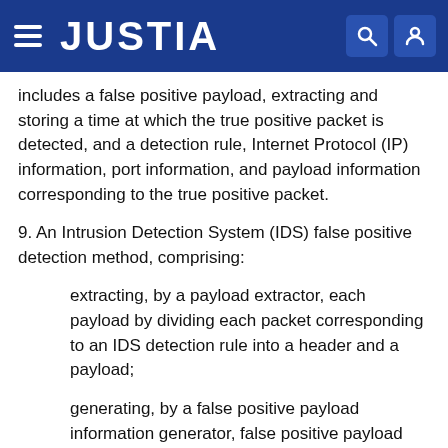JUSTIA
includes a false positive payload, extracting and storing a time at which the true positive packet is detected, and a detection rule, Internet Protocol (IP) information, port information, and payload information corresponding to the true positive packet.
9. An Intrusion Detection System (IDS) false positive detection method, comprising:
extracting, by a payload extractor, each payload by dividing each packet corresponding to an IDS detection rule into a header and a payload;
generating, by a false positive payload information generator, false positive payload information required to identify a false positive payload by extracting a payload of a false positive packet based on results of packet analysis received from a